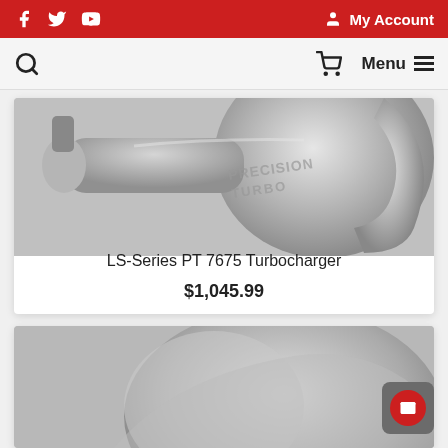Social links: Facebook, Twitter, YouTube | My Account
Search | Cart | Menu
[Figure (photo): Close-up photo of a Precision Turbo LS-Series PT 7675 turbocharger, silver/metallic finish, showing the compressor housing with 'PRECISION TURBO' embossed text]
LS-Series PT 7675 Turbocharger
$1,045.99
[Figure (photo): Partial photo of another Precision Turbo turbocharger product, silver/metallic finish, partially visible at bottom of page]